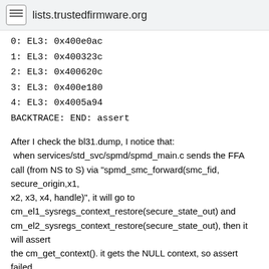lists.trustedfirmware.org
0: EL3: 0x400e0ac
1: EL3: 0x400323c
2: EL3: 0x400620c
3: EL3: 0x400e180
4: EL3: 0x4005a94
BACKTRACE: END: assert
After I check the bl31.dump, I notice that:
 when services/std_svc/spmd/spmd_main.c sends the FFA call (from NS to S) via "spmd_smc_forward(smc_fid, secure_origin,x1,
x2, x3, x4, handle)", it will go to cm_el1_sysregs_context_restore(secure_state_out) and cm_el2_sysregs_context_restore(secure_state_out), then it will assert
the cm_get_context(). it gets the NULL context, so assert failed.
Before the problem appeared, I have modified many codes on a dirty